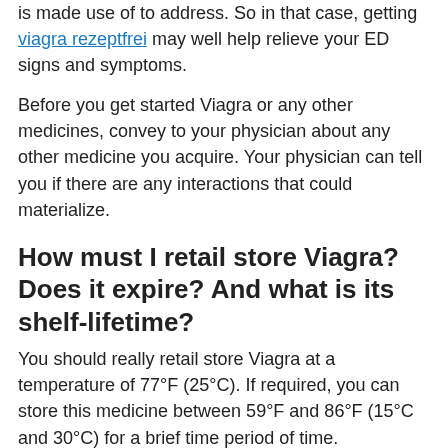is made use of to address. So in that case, getting viagra rezeptfrei may well help relieve your ED signs and symptoms.
Before you get started Viagra or any other medicines, convey to your physician about any other medicine you acquire. Your physician can tell you if there are any interactions that could materialize.
How must I retail store Viagra? Does it expire? And what is its shelf-lifetime?
You should really retail store Viagra at a temperature of 77°F (25°C). If required, you can store this medicine between 59°F and 86°F (15°C and 30°C) for a brief time period of time.
Your pharmacist will incorporate an expiration day to the label of your bottle of Viagra when it is dispensed at your pharmacy. In quite a few instances, drugs are Alright to use for 1 12 months just after they're dispensed from a